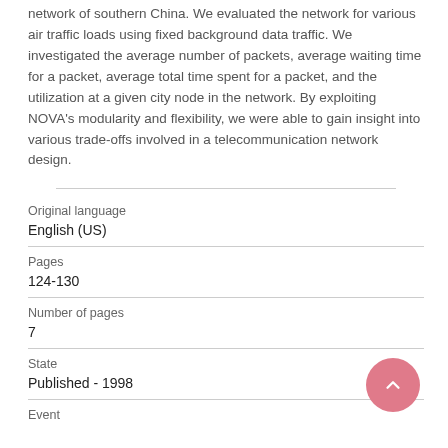network of southern China. We evaluated the network for various air traffic loads using fixed background data traffic. We investigated the average number of packets, average waiting time for a packet, average total time spent for a packet, and the utilization at a given city node in the network. By exploiting NOVA's modularity and flexibility, we were able to gain insight into various trade-offs involved in a telecommunication network design.
| Original language | English (US) |
| Pages | 124-130 |
| Number of pages | 7 |
| State | Published - 1998 |
| Event |  |